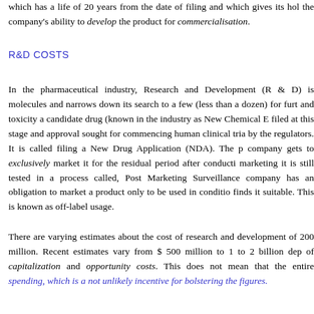which has a life of 20 years from the date of filing and which gives its hol the company's ability to develop the product for commercialisation.
R&D COSTS
In the pharmaceutical industry, Research and Development (R & D) is molecules and narrows down its search to a few (less than a dozen) for furt and toxicity a candidate drug (known in the industry as New Chemical E filed at this stage and approval sought for commencing human clinical tria by the regulators. It is called filing a New Drug Application (NDA). The p company gets to exclusively market it for the residual period after conducti marketing it is still tested in a process called, Post Marketing Surveillance company has an obligation to market a product only to be used in conditio finds it suitable. This is known as off-label usage.
There are varying estimates about the cost of research and development of 200 million. Recent estimates vary from $ 500 million to 1 to 2 billion dep of capitalization and opportunity costs. This does not mean that the entire spending, which is a not unlikely incentive for bolstering the figures.